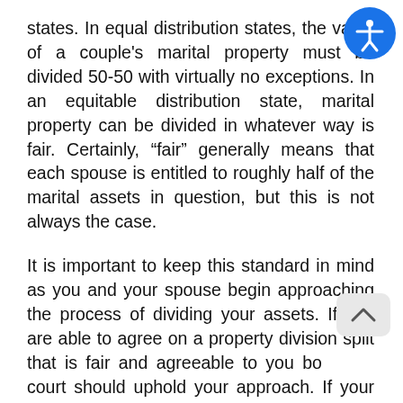states. In equal distribution states, the value of a couple's marital property must be divided 50-50 with virtually no exceptions. In an equitable distribution state, marital property can be divided in whatever way is fair. Certainly, “fair” generally means that each spouse is entitled to roughly half of the marital assets in question, but this is not always the case.
It is important to keep this standard in mind as you and your spouse begin approaching the process of dividing your assets. If you are able to agree on a property division split that is fair and agreeable to you both, the court should uphold your approach. If your divorce process becomes contentious and a judge is called upon to intervene and settle your fundamental differences, they will resolve your property division question in whatever